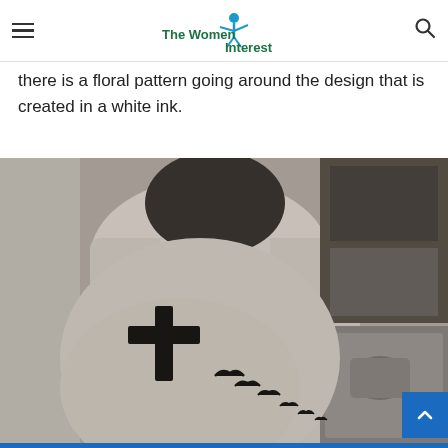The Women Interest
there is a floral pattern going around the design that is created in a white ink.
[Figure (photo): Black and white photo of a person's upper back and neck showing a cross tattoo with birds flying from it. The cross is on the left shoulder blade area and several black bird silhouettes appear to fly diagonally downward from the base of the cross toward the right.]